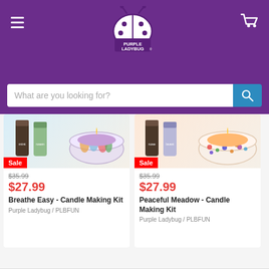[Figure (logo): Purple Ladybug logo with ladybug illustration and text on purple header background]
What are you looking for?
[Figure (photo): Breathe Easy Candle Making Kit product image showing mint and rose essential oil bottles and decorated candle bowl]
Sale
$35.99 (original price, strikethrough)
$27.99
Breathe Easy - Candle Making Kit
Purple Ladybug / PLBFUN
[Figure (photo): Peaceful Meadow Candle Making Kit product image showing rose and lavender essential oil bottles and colorful polka-dot candle bowl]
Sale
$35.99 (original price, strikethrough)
$27.99
Peaceful Meadow - Candle Making Kit
Purple Ladybug / PLBFUN